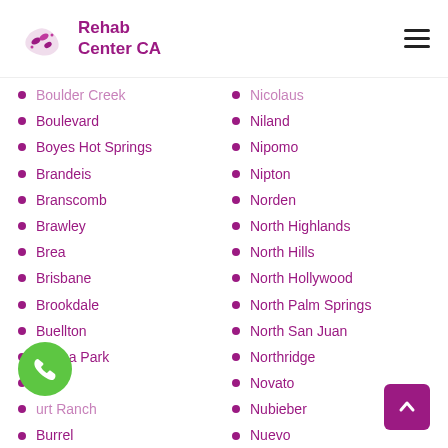[Figure (logo): Rehab Center CA logo with pill/shoe icon in magenta/purple]
Boulder Creek
Boulevard
Boyes Hot Springs
Brandeis
Branscomb
Brawley
Brea
Brisbane
Brookdale
Buellton
Buena Park
Burney
Burnt Ranch
Burrel
Nicolaus
Niland
Nipomo
Nipton
Norden
North Highlands
North Hills
North Hollywood
North Palm Springs
North San Juan
Northridge
Novato
Nubieber
Nuevo